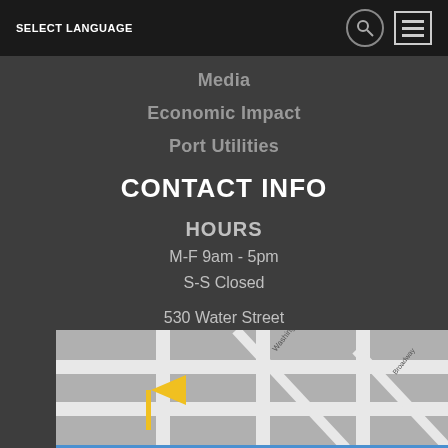SELECT LANGUAGE
Media
Economic Impact
Port Utilities
CONTACT INFO
HOURS
M-F 9am - 5pm
S-S Closed
530 Water Street
Oakland, CA 94607
[Figure (map): Street map showing location with yellow flag marker near Washington street]